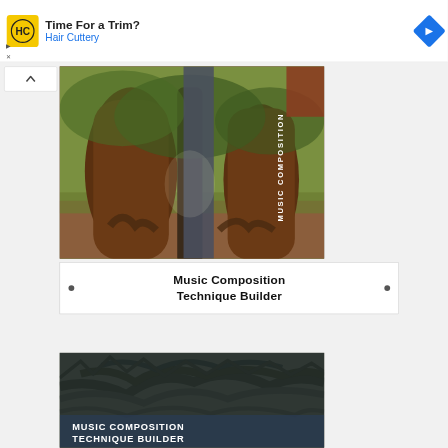[Figure (screenshot): Advertisement banner for Hair Cuttery showing logo with HC letters in yellow box, text 'Time For a Trim? Hair Cuttery', blue navigation arrow icon, and small ad controls (play/close)]
[Figure (photo): Book cover image showing large ancient trees with twisted roots and a vertical banner overlay reading 'MUSIC COMPOSITION' rotated vertically, brown/rust colored rectangular element at top right]
Music Composition Technique Builder
[Figure (photo): Second book cover for Music Composition Technique Builder showing dark tree branches against sky with text overlay at bottom reading 'MUSIC COMPOSITION TECHNIQUE BUILDER']